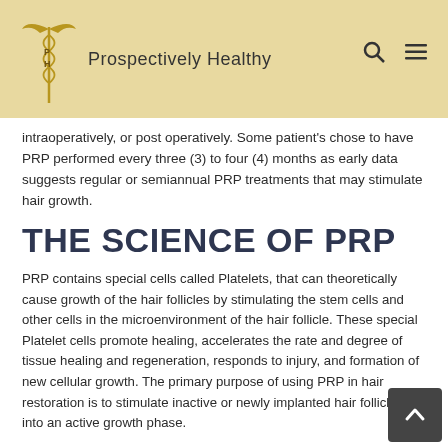Prospectively Healthy
intraoperatively, or post operatively. Some patient's chose to have PRP performed every three (3) to four (4) months as early data suggests regular or semiannual PRP treatments that may stimulate hair growth.
THE SCIENCE OF PRP
PRP contains special cells called Platelets, that can theoretically cause growth of the hair follicles by stimulating the stem cells and other cells in the microenvironment of the hair follicle. These special Platelet cells promote healing, accelerates the rate and degree of tissue healing and regeneration, responds to injury, and formation of new cellular growth. The primary purpose of using PRP in hair restoration is to stimulate inactive or newly implanted hair follicles into an active growth phase.
Inside the Platelets are many intracellular structures such as glycogen, lysosomes and alpha granules. These granules within the PRP contain clotting and growth factors that are eventually released during the healing and repair process.